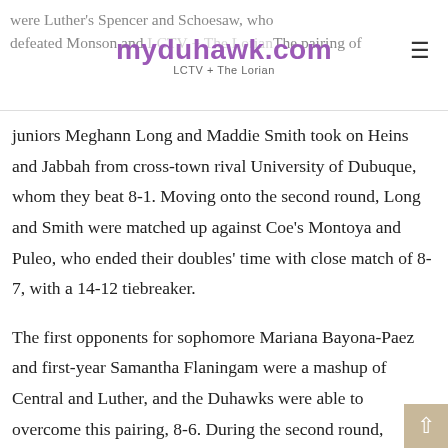myduhawk.com LCTV + The Lorian
were Luther's Spencer and Schoesaw, who defeated Monson and … The pairing of juniors Meghann Long and Maddie Smith took on Heins and Jabbah from cross-town rival University of Dubuque, whom they beat 8-1. Moving onto the second round, Long and Smith were matched up against Coe's Montoya and Puleo, who ended their doubles' time with close match of 8-7, with a 14-12 tiebreaker.
The first opponents for sophomore Mariana Bayona-Paez and first-year Samantha Flaningam were a mashup of Central and Luther, and the Duhawks were able to overcome this pairing, 8-6. During the second round, though, this Duhawk